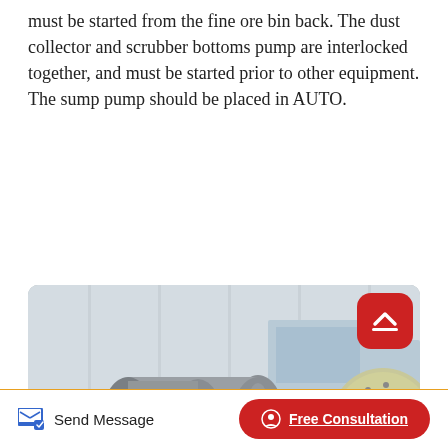must be started from the fine ore bin back. The dust collector and scrubber bottoms pump are interlocked together, and must be started prior to other equipment. The sump pump should be placed in AUTO.
Read More
[Figure (photo): Industrial mining equipment including cylindrical drum filters/mills and a ball mill inside a factory warehouse. Equipment is grey and yellow-green colored.]
Send Message
Free Consultation